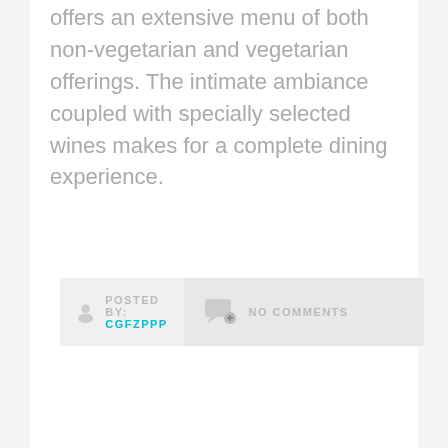offers an extensive menu of both non-vegetarian and vegetarian offerings. The intimate ambiance coupled with specially selected wines makes for a complete dining experience.
POSTED BY: CGFZPPP   NO COMMENTS